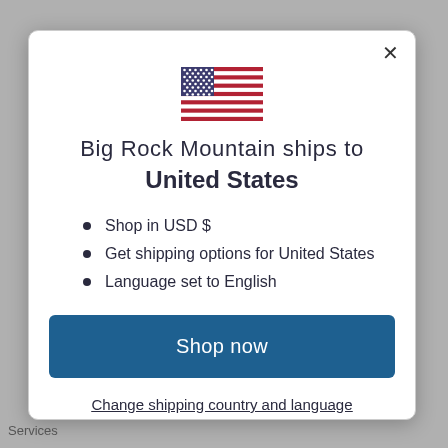[Figure (illustration): US flag icon displayed at the top center of the modal dialog]
Big Rock Mountain ships to United States
Shop in USD $
Get shipping options for United States
Language set to English
Shop now
Change shipping country and language
Services